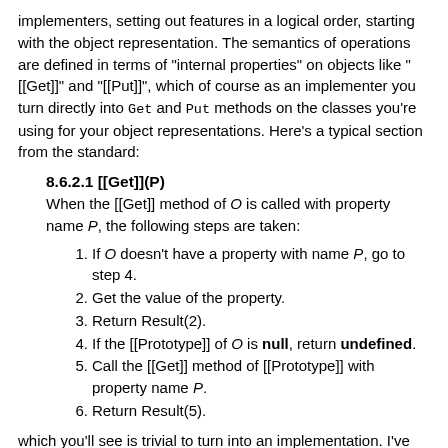implementers, setting out features in a logical order, starting with the object representation. The semantics of operations are defined in terms of "internal properties" on objects like "[[Get]]" and "[[Put]]", which of course as an implementer you turn directly into Get and Put methods on the classes you're using for your object representations. Here's a typical section from the standard:
8.6.2.1 [[Get]](P)
When the [[Get]] method of O is called with property name P, the following steps are taken:
1. If O doesn't have a property with name P, go to step 4.
2. Get the value of the property.
3. Return Result(2).
4. If the [[Prototype]] of O is null, return undefined.
5. Call the [[Get]] method of [[Prototype]] with property name P.
6. Return Result(5).
which you'll see is trivial to turn into an implementation. I've heard complaints about this standard from people who tried to learn how to program in JavaScript by reading it. Sorry, but it wasn't written for you, it was written for me! You should